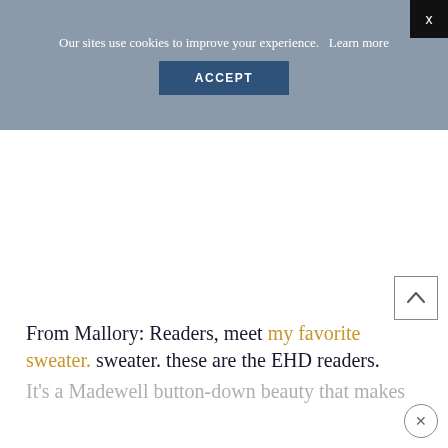Our sites use cookies to improve your experience.   Learn more
ACCEPT
X
[Figure (other): Scroll to top arrow button — square outline with upward-pointing chevron]
From Mallory: Readers, meet my favorite sweater. sweater. these are the EHD readers.
It's a Madewell button-down beauty that makes